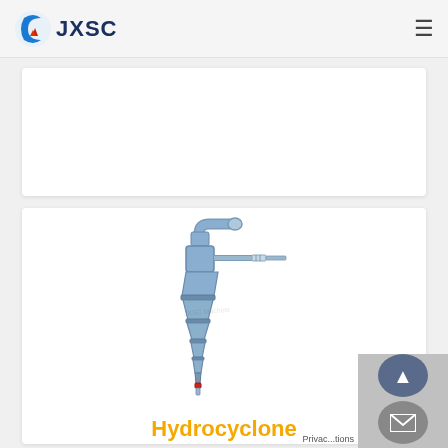JXSC
[Figure (photo): Partially visible product card at top of page, content not visible]
[Figure (photo): Hydrocyclone industrial equipment - a blue conical separator device with curved inlet pipe at top, overflow pipe to the side, and tapered cone sections leading to a bottom discharge tip with red fitting]
Hydrocyclone